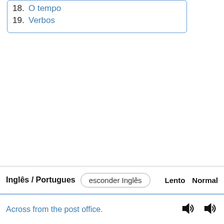18. O tempo
19. Verbos
Inglês / Portugues   esconder Inglês   Lento   Normal
Across from the post office.